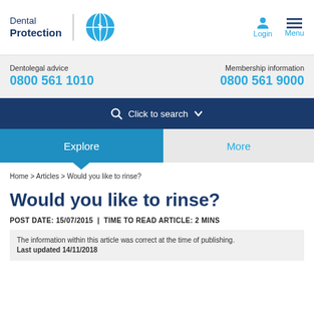[Figure (logo): Dental Protection logo with globe icon]
Dentolegal advice
0800 561 1010
Membership information
0800 561 9000
Click to search
Explore | More
Home > Articles > Would you like to rinse?
Would you like to rinse?
POST DATE: 15/07/2015 | TIME TO READ ARTICLE: 2 MINS
The information within this article was correct at the time of publishing. Last updated 14/11/2018